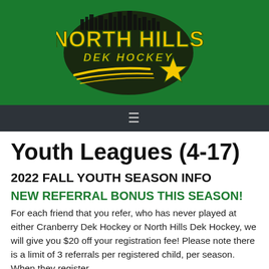[Figure (logo): North Hills Dek Hockey logo: yellow text on dark oval shape with shooting star, on green background]
Youth Leagues (4-17)
2022 FALL YOUTH SEASON INFO
NEW REFERRAL BONUS THIS SEASON!
For each friend that you refer, who has never played at either Cranberry Dek Hockey or North Hills Dek Hockey, we will give you $20 off your registration fee!  Please note there is a limit of 3 referrals per registered child, per season.  When they register